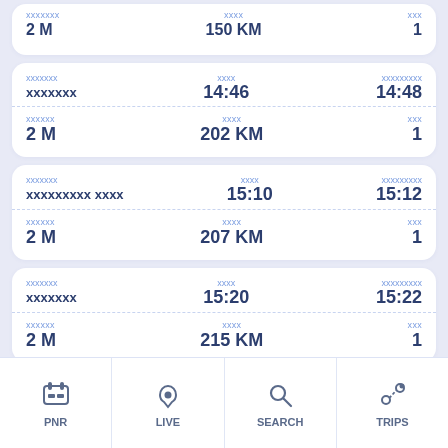| Station | Arrive | Depart |
| --- | --- | --- |
| xxxxxxx xxxxxxx | 150 KM | 1 |
| xxxxxxx xxxxxxx | 14:46 | 14:48 |
| xxxxx 2 M | 202 KM | 1 |
| xxxxxxx xxxxxxxxxxxxxxx xxxx | 15:10 | 15:12 |
| xxxxx 2 M | 207 KM | 1 |
| xxxxxxx xxxxxxx | 15:20 | 15:22 |
| xxxxx 2 M | 215 KM | 1 |
| xxxxxxx xxxxxxx | 15:29 | 15:31 |
| xxxxx 2 M | xxx KM | x |
[Figure (screenshot): Mobile app navigation bar with PNR, LIVE, SEARCH, TRIPS tabs]